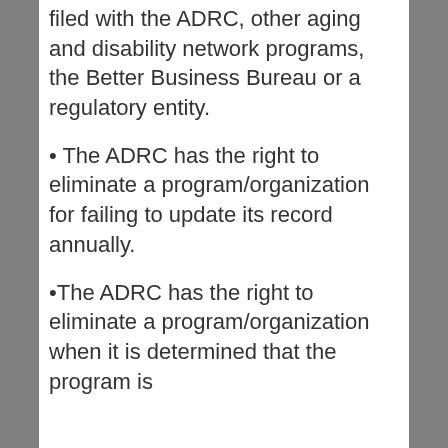filed with the ADRC, other aging and disability network programs, the Better Business Bureau or a regulatory entity.
• The ADRC has the right to eliminate a program/organization for failing to update its record annually.
•The ADRC has the right to eliminate a program/organization when it is determined that the program is